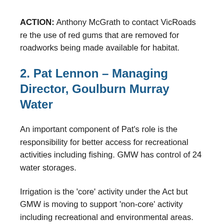ACTION: Anthony McGrath to contact VicRoads re the use of red gums that are removed for roadworks being made available for habitat.
2. Pat Lennon – Managing Director, Goulburn Murray Water
An important component of Pat's role is the responsibility for better access for recreational activities including fishing. GMW has control of 24 water storages.
Irrigation is the 'core' activity under the Act but GMW is moving to support 'non-core' activity including recreational and environmental areas.